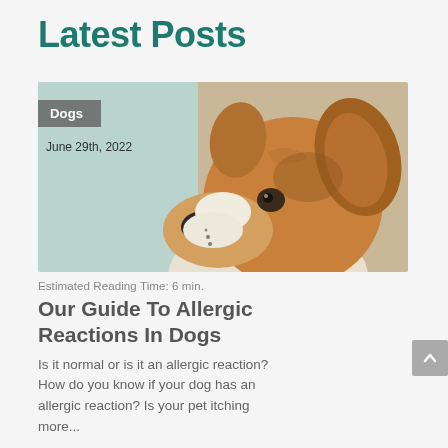Latest Posts
[Figure (photo): A Corgi dog looking upward at a wall, with a light teal/green background on the left side. The dog has orange/brown and white fur with expressive eyes and large ears.]
Dogs
June 29th, 2022
Estimated Reading Time: 6 min.
Our Guide To Allergic Reactions In Dogs
Is it normal or is it an allergic reaction? How do you know if your dog has an allergic reaction? Is your pet itching more...